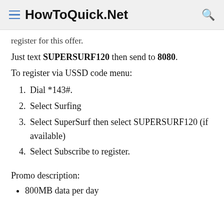HowToQuick.Net
register for this offer.
Just text SUPERSURF120 then send to 8080.
To register via USSD code menu:
1. Dial *143#.
2. Select Surfing
3. Select SuperSurf then select SUPERSURF120 (if available)
4. Select Subscribe to register.
Promo description:
800MB data per day